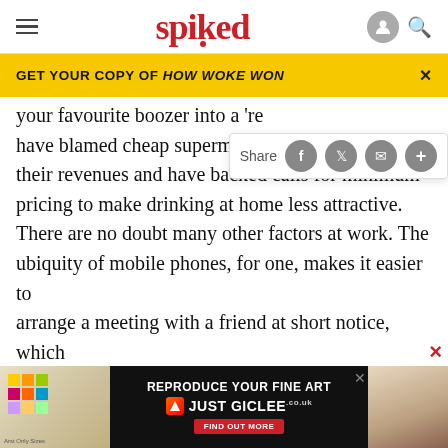spiked
GET YOUR COPY OF HOW WOKE WON
your favourite boozer into a 're have blamed cheap supermarket their revenues and have backed calls for minimum pricing to make drinking at home less attractive. There are no doubt many other factors at work. The ubiquity of mobile phones, for one, makes it easier to arrange a meeting with a friend at short notice, which means the idea of being the ‘regular’ who pops into a ‘local’ unannounced in the hope of bumping into
someone one knows is becoming a thing of the past.
ABOUT
[Figure (screenshot): Advertisement banner: REPRODUCE YOUR FINE ART - JUST GICLEE logo with FIND OUT MORE button]